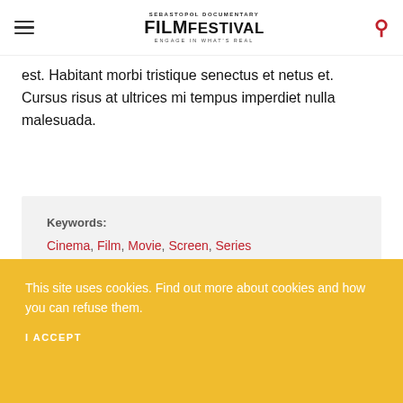SEBASTOPOL DOCUMENTARY FILM FESTIVAL ENGAGE IN WHAT'S REAL
est. Habitant morbi tristique senectus et netus et. Cursus risus at ultrices mi tempus imperdiet nulla malesuada.
Keywords: Cinema, Film, Movie, Screen, Series
This site uses cookies. Find out more about cookies and how you can refuse them.
I ACCEPT